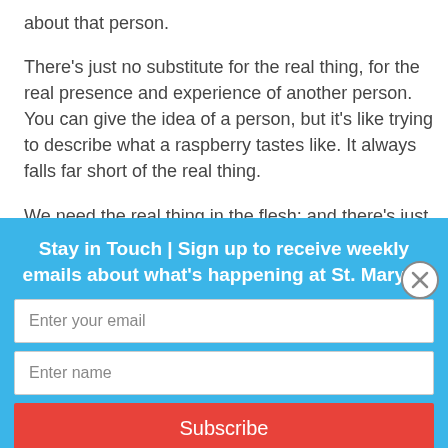about that person.
There's just no substitute for the real thing, for the real presence and experience of another person. You can give the idea of a person, but it's like trying to describe what a raspberry tastes like. It always falls far short of the real thing.
We need the real thing in the flesh; and there's just not substitute.
There's a familiar story of a four-year old girl and her
Stay in Touch | Sign up to receive weekly emails about what's happening at St. Mary's.
Enter your email
Enter name
Subscribe